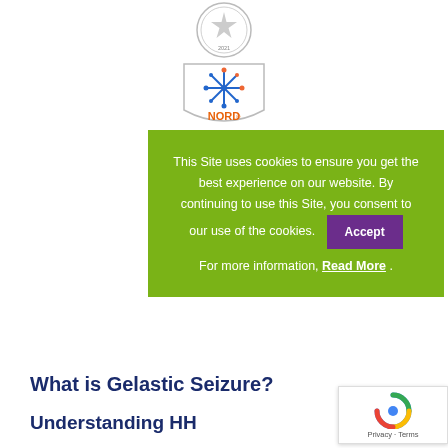[Figure (logo): Top circular badge/seal logo with star design, text around border, and '2021' at bottom]
[Figure (logo): NORD (National Organization for Rare Disorders) shield-shaped logo with snowflake/star graphic in red and blue, 'NORD' text in orange/red]
This Site uses cookies to ensure you get the best experience on our website. By continuing to use this Site, you consent to our use of the cookies. Accept For more information, Read More .
What is Gelastic Seizure?
Understanding HH